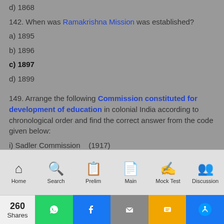d) 1868
142. When was Ramakrishna Mission was established?
a) 1895
b) 1896
c) 1897
d) 1899
149. Arrange the following Commission constituted for development of education in colonial India according to chronological order and find the correct answer from the code given below:
i) Sadler Commission    (1917)
ii) Wood's Despatch    (1854)
Home | Search | Prelim | Main | Mock Test | Discussion